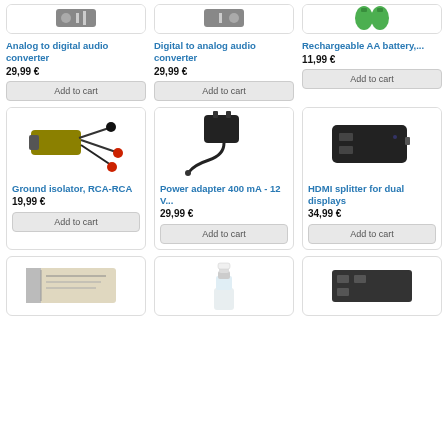[Figure (screenshot): E-commerce product listing grid showing 6 visible products and 3 partial products at bottom. Products include: Analog to digital audio converter 29,99€, Digital to analog audio converter 29,99€, Rechargeable AA battery 11,99€, Ground isolator RCA-RCA 19,99€, Power adapter 400mA - 12V 29,99€, HDMI splitter for dual displays 34,99€, plus 3 partial items at bottom.]